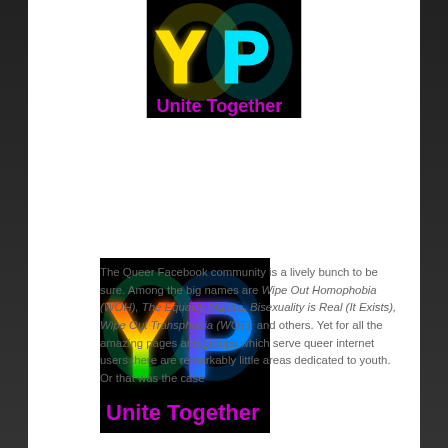[Figure (logo): YP Unite Together logo — partial/cropped at top of page, black background with neon yellow Y and cyan P glowing letters, magenta 'Unite Together' text below]
[Figure (logo): YP Unite Together logo — full logo, black background with rainbow Y (red-orange-yellow-green) and magenta-cyan P, magenta 'Unite Together' text below]
The Queer Facebook community is a lively bunch to be sure. Among the big names are Wipe Out Homophobia (WOH), The Equality Mantra, Bisexuality is Real (It Exists), Wipe Out Transphobia (WOT), and others. Yet for all the amazing pages and groups which serve queer internet users there are remarkably little areas dedicated to youth. Or that was the case